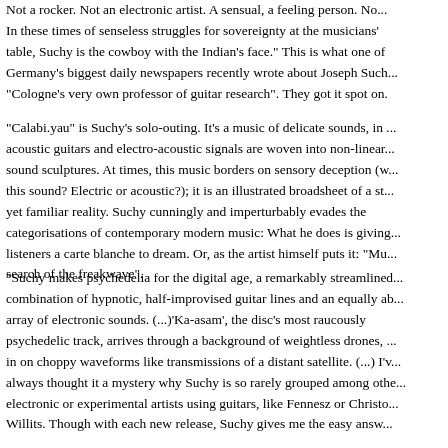Not a rocker. Not an electronic artist. A sensual, a feeling person. No... In these times of senseless struggles for sovereignty at the musicians' table, Suchy is the cowboy with the Indian's face." This is what one of Germany's biggest daily newspapers recently wrote about Joseph Suchy, "Cologne's very own professor of guitar research". They got it spot on.
"Calabi.yau" is Suchy's solo-outing. It's a music of delicate sounds, in which acoustic guitars and electro-acoustic signals are woven into non-linear sound sculptures. At times, this music borders on sensory deception (w... this sound? Electric or acoustic?); it is an illustrated broadsheet of a st... yet familiar reality. Suchy cunningly and imperturbably evades the categorisations of contemporary modern music: What he does is giving listeners a carte blanche to dream. Or, as the artist himself puts it: "Mu... search of the freakwave".
"Suchy makes psychedelia for the digital age, a remarkably streamlined combination of hypnotic, half-improvised guitar lines and an equally ab... array of electronic sounds. (...)'Ka-asam', the disc's most raucously psychedelic track, arrives through a background of weightless drones, ... in on choppy waveforms like transmissions of a distant satellite. (...) I'v... always thought it a mystery why Suchy is so rarely grouped among othe... electronic or experimental artists using guitars, like Fennesz or Christo... Willits. Though with each new release, Suchy gives me the easy answ...